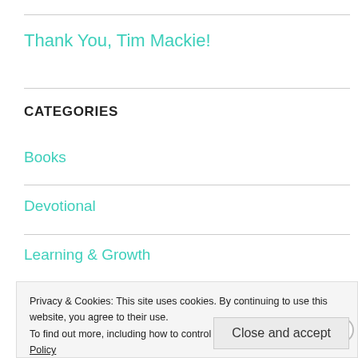Thank You, Tim Mackie!
CATEGORIES
Books
Devotional
Learning & Growth
Privacy & Cookies: This site uses cookies. By continuing to use this website, you agree to their use.
To find out more, including how to control cookies, see here: Cookie Policy
Close and accept